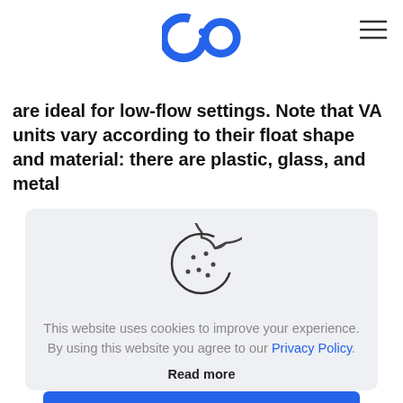[Figure (logo): C:O logo in blue]
[Figure (illustration): Hamburger menu icon (three horizontal lines)]
are ideal for low‑flow settings. Note that VA units vary according to their float shape and material: there are plastic, glass, and metal
[Figure (illustration): Cookie icon: circle with a bite taken out, dots inside]
This website uses cookies to improve your experience. By using this website you agree to our Privacy Policy.
Read more
ACCEPT ALL